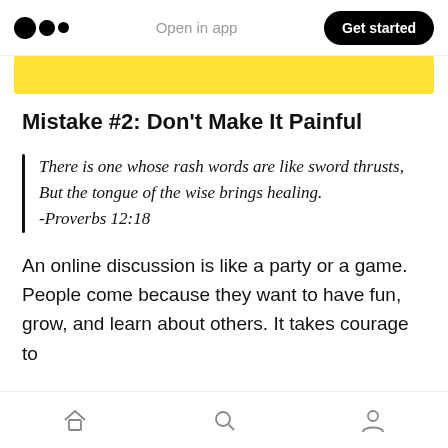Open in app | Get started
[Figure (other): Yellow banner/highlight image strip]
Mistake #2: Don't Make It Painful
There is one whose rash words are like sword thrusts,
But the tongue of the wise brings healing.
-Proverbs 12:18
An online discussion is like a party or a game. People come because they want to have fun, grow, and learn about others. It takes courage to
Home | Search | Profile